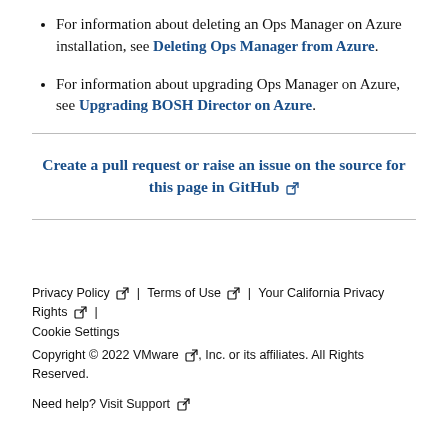For information about deleting an Ops Manager on Azure installation, see Deleting Ops Manager from Azure.
For information about upgrading Ops Manager on Azure, see Upgrading BOSH Director on Azure.
Create a pull request or raise an issue on the source for this page in GitHub
Privacy Policy | Terms of Use | Your California Privacy Rights | Cookie Settings Copyright © 2022 VMware, Inc. or its affiliates. All Rights Reserved. Need help? Visit Support